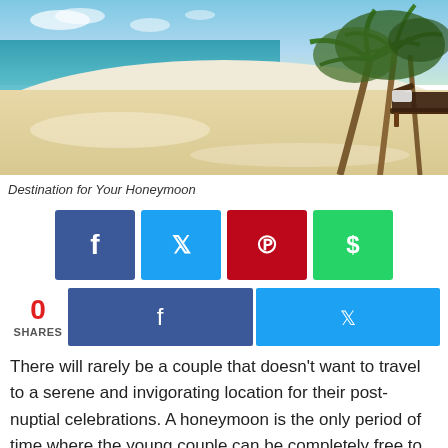[Figure (photo): Tropical beach scene with white sand, two dark wooden lounge chairs, and palm trees, with calm blue ocean in the background]
Destination for Your Honeymoon
[Figure (infographic): Social share buttons row: Facebook (blue), Twitter (light blue), Pinterest (red), WhatsApp (green)]
[Figure (infographic): Shares count showing 0 SHARES with Facebook and Twitter share buttons]
There will rarely be a couple that doesn't want to travel to a serene and invigorating location for their post-nuptial celebrations. A honeymoon is the only period of time where the young couple can be completely free to spend time together